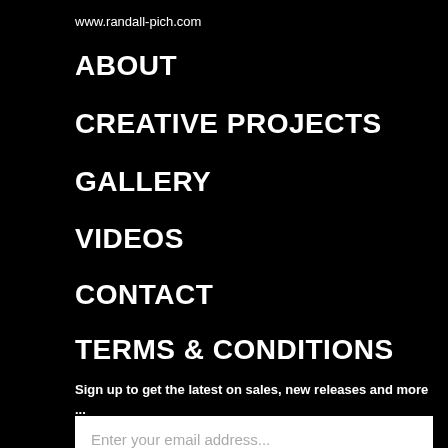www.randall-pich.com
ABOUT
CREATIVE PROJECTS
GALLERY
VIDEOS
CONTACT
TERMS & CONDITIONS
Sign up to get the latest on sales, new releases and more ...
Enter your email address...
SIGN UP